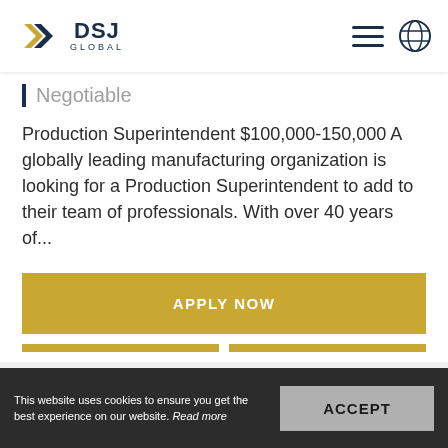DSJ Global
Negotiable
Production Superintendent $100,000-150,000 A globally leading manufacturing organization is looking for a Production Superintendent to add to their team of professionals. With over 40 years of...
APPLY NOW
READ MORE
SAVE JOB
This website uses cookies to ensure you get the best experience on our website. Read more
ACCEPT